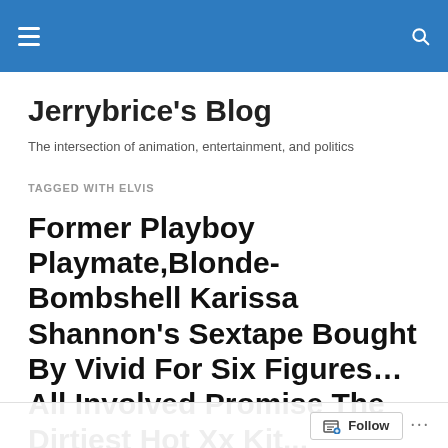Jerrybrice's Blog [navigation bar]
Jerrybrice's Blog
The intersection of animation, entertainment, and politics
TAGGED WITH ELVIS
Former Playboy Playmate,Blonde-Bombshell Karissa Shannon's Sextape Bought By Vivid For Six Figures…All Involved Promise The Dirtiest Hot XX Kit...